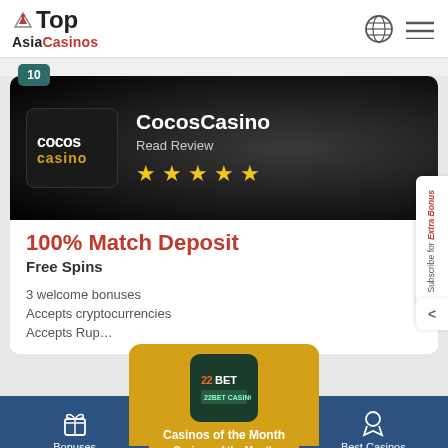Top Asia Casinos
10
CocosCasino
Read Review
★★★★★
100% Match Deposit
Free Spins
3 welcome bonuses
Accepts cryptocurrencies
Accepts Rup...
Subscribe for Extra Bonus
Casinos of the Month
Bonuses | Casinos of the Month | Best Casinos